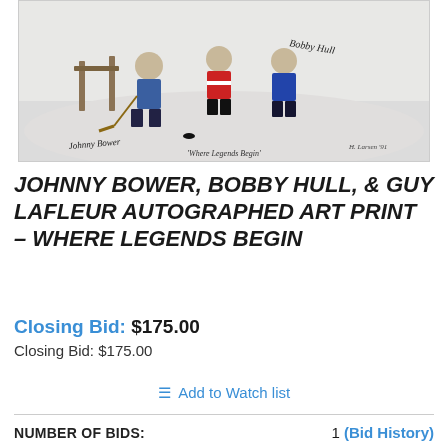[Figure (photo): Artwork print titled 'Where Legends Begin' showing hockey players as children in a winter scene, with signatures including Johnny Bower, Bobby Hull, and artist signature. The print is matted with a white border and has handwritten text 'Where Legends Begin' in the lower center.]
JOHNNY BOWER, BOBBY HULL, & GUY LAFLEUR AUTOGRAPHED ART PRINT – WHERE LEGENDS BEGIN
Closing Bid: $175.00
Closing Bid: $175.00
≡ Add to Watch list
NUMBER OF BIDS: 1 (Bid History)